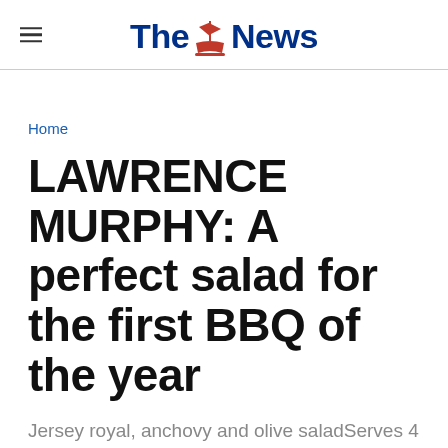The News
Home
LAWRENCE MURPHY: A perfect salad for the first BBQ of the year
Jersey royal, anchovy and olive saladServes 4
By The N...